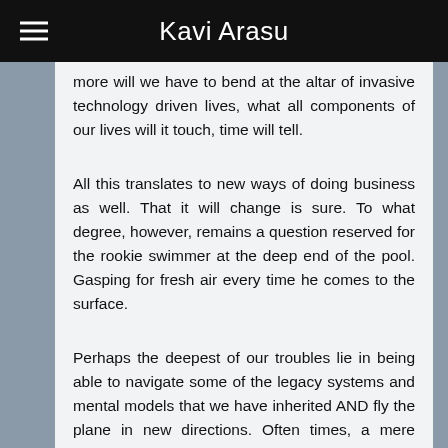Kavi Arasu
more will we have to bend at the altar of invasive technology driven lives, what all components of our lives will it touch, time will tell.
All this translates to new ways of doing business as well. That it will change is sure. To what degree, however, remains a question reserved for the rookie swimmer at the deep end of the pool. Gasping for fresh air every time he comes to the surface.
Perhaps the deepest of our troubles lie in being able to navigate some of the legacy systems and mental models that we have inherited AND fly the plane in new directions. Often times, a mere imagination of the scale of required change causes organisations and